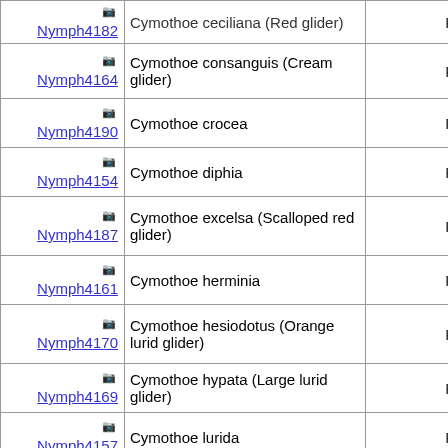| ID | Species | Code |
| --- | --- | --- |
| Nymph4182 | Cymothoe ceciliana (Red glider) | RCA |
| Nymph4164 | Cymothoe consanguis (Cream glider) | RCA |
| Nymph4190 | Cymothoe crocea | RCA |
| Nymph4154 | Cymothoe diphia | RCA |
| Nymph4187 | Cymothoe excelsa (Scalloped red glider) | RCA |
| Nymph4161 | Cymothoe herminia | RCA |
| Nymph4170 | Cymothoe hesiodotus (Orange lurid glider) | RCA |
| Nymph4169 | Cymothoe hypata (Large lurid glider) | RCA |
| Nymph4157 | Cymothoe lurida | RCA |
| Nymph4186 | Cymothoe reginae elisabethae | RCA |
| Nymph4155 | Cymothoe reinholdi | RCA |
| Nymph???? | Cymothoe ... | RCA |